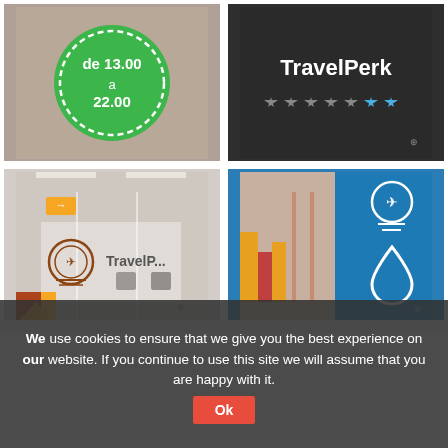[Figure (photo): Green circular sign showing 'de 13.00 a 22.00' on a textured brown/cork background]
[Figure (photo): TravelPerk logo on dark background with stars (5 solid and 2 blue outlined)]
[Figure (photo): TravelPerk office glass wall with TravelPerk logo, arrow signs, colorful geometric patterns, office chairs visible behind glass]
[Figure (photo): Blue wall with TravelPerk airplane-in-circle icon and water drop icon, colorful geometric columns and office hallway visible]
We use cookies to ensure that we give you the best experience on our website. If you continue to use this site we will assume that you are happy with it.
Ok